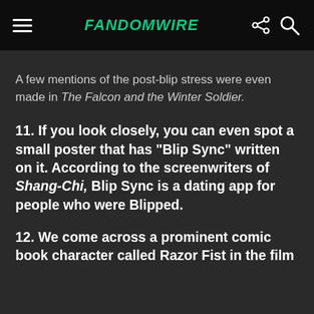FandomWire
A few mentions of the post-blip stress were even made in The Falcon and the Winter Soldier.
11. If you look closely, you can even spot a small poster that has “Blip Sync” written on it. According to the screenwriters of Shang-Chi, Blip Sync is a dating app for people who were Blipped.
12. We come across a prominent comic book character called Razor Fist in the film